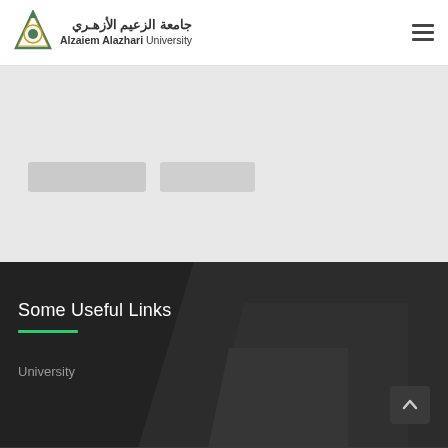جامعة الزعيم الأزهري — Alzaiem Alazhari University
[Figure (logo): Alzaiem Alazhari University logo with green and gold emblem, Arabic text جامعة الزعيم الأزهري and English text Alzaiem Alazhari University]
[Figure (screenshot): Blurred/redacted gray banner area with two gray placeholder bars]
Some Useful Links
University